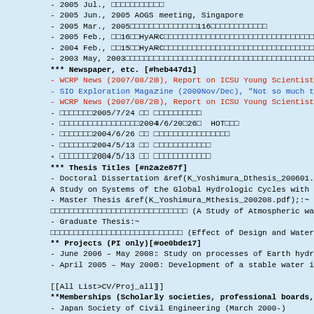- 2005 Jul., □□□□□□□□□□□
- 2005 Jun., 2005 AOGS meeting, Singapore
- 2005 Mar., 2005□□□□□□□□□□□□□□116□□□□□□□□□□□□
- 2005 Feb., □□16□□HyARC□□□□□□□□□□□□□□□□□□□□□□□□□□□□□□□□□□□
- 2004 Feb., □□15□□HyARC□□□□□□□□□□□□□□□□□□□□□□□□□□□□□□□□□□□
- 2003 May, 2003□□□□□□□□□□□□□□□□□□□□□□□□□□□□□□□□□□□□□□□□□□□
*** Newspaper, etc. [#heb447d1]
- WCRP News (2007/08/28), Report on ICSU Young Scientist Co
- SIO Exploration Magazine (2009Nov/Dec), "Not so much the
- WCRP News (2007/08/28), Report on ICSU Young Scientist Co
- □□□□□□□2005/7/24 □□ □□□□□□□□□□
- □□□□□□□□□□□□□□□□□2004/6/20□26□  HOT□□□
- □□□□□□□2004/6/26 □□ □□□□□□□□□□□□□□□□
- □□□□□□□2004/5/13 □□ □□□□□□□□□□□□
- □□□□□□□2004/5/13 □□ □□□□□□□□□□□□
*** Thesis Titles [#n2a2e87f]
- Doctoral Dissertation &ref(K_Yoshimura_Dthesis_200601.pdf)
A Study on Systems of the Global Hydrologic Cycles with Sta
- Master Thesis &ref(K_Yoshimura_Mthesis_200208.pdf);:~
□□□□□□□□□□□□□□□□□□□□□□□□□□□□□ (A Study of Atmospheric wa
- Graduate Thesis:~
□□□□□□□□□□□□□□□□□□□□□□□□□□□□ (Effect of Design and Water M
** Projects (PI only)[#oe0bde17]
- June 2006 – May 2008: Study on processes of Earth hydrolo
- April 2005 – May 2006: Development of a stable water isot
[[All List>CV/Proj_all]]
**Memberships (Scholarly societies, professional boards, ci
- Japan Society of Civil Engineering (March 2000-)
- Japan Society of Hydrology and Water Resources Engineerin